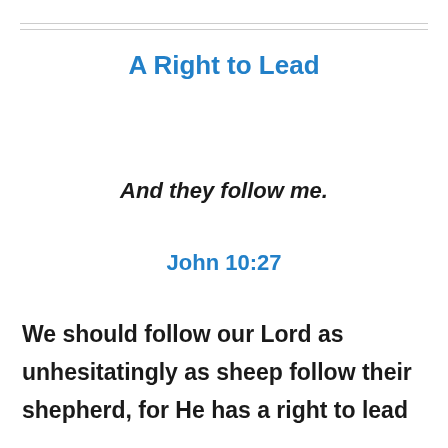A Right to Lead
And they follow me.
John 10:27
We should follow our Lord as unhesitatingly as sheep follow their shepherd, for He has a right to lead